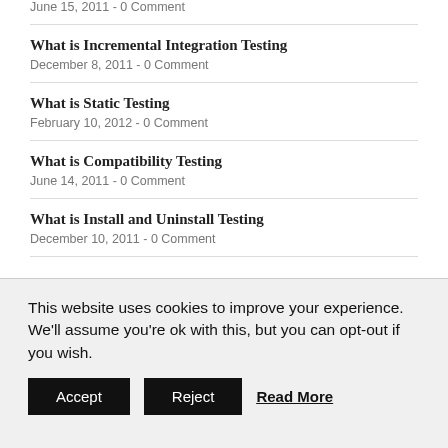June 15, 2011 - 0 Comment
What is Incremental Integration Testing
December 8, 2011 - 0 Comment
What is Static Testing
February 10, 2012 - 0 Comment
What is Compatibility Testing
June 14, 2011 - 0 Comment
What is Install and Uninstall Testing
December 10, 2011 - 0 Comment
This website uses cookies to improve your experience. We'll assume you're ok with this, but you can opt-out if you wish.